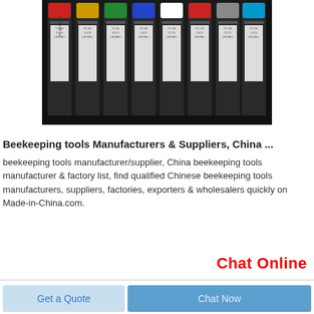[Figure (photo): A set of POSCA markers/pens arranged vertically in a black case, showing colorful caps (red, yellow, green, blue) and white label stickers on the dark pen barrels.]
Beekeeping tools Manufacturers & Suppliers, China ...
beekeeping tools manufacturer/supplier, China beekeeping tools manufacturer & factory list, find qualified Chinese beekeeping tools manufacturers, suppliers, factories, exporters & wholesalers quickly on Made-in-China.com.
Chat Online
Get a Quote
Chat Now